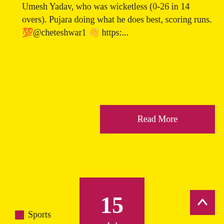Umesh Yadav, who was wicketless (0-26 in 14 overs). Pujara doing what he does best, scoring runs. 💯@cheteshwar1 👋 https:...
Read More
15
Jul
[Figure (illustration): Generic user avatar - grey circle with person silhouette]
By source below
No Comments
↑
Sports